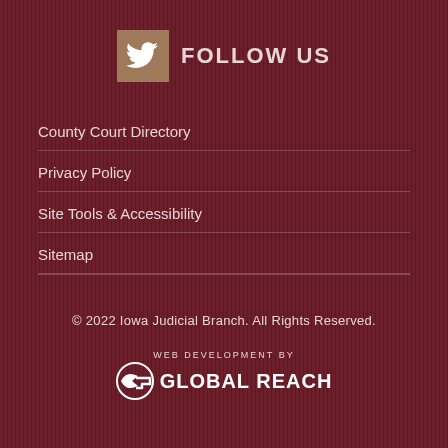[Figure (logo): Twitter bird icon in a tan/brown square followed by FOLLOW US text]
County Court Directory
Privacy Policy
Site Tools & Accessibility
Sitemap
© 2022 Iowa Judicial Branch. All Rights Reserved.
[Figure (logo): Global Reach logo with G icon and text WEB DEVELOPMENT BY GLOBAL REACH]